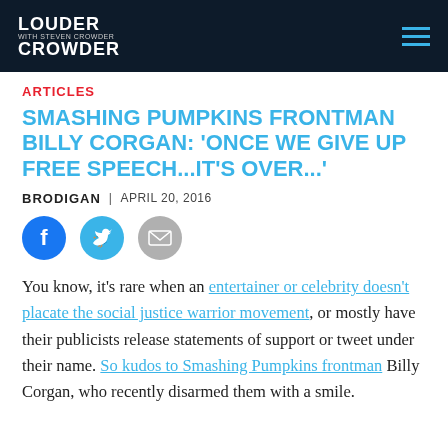Louder with Crowder
ARTICLES
SMASHING PUMPKINS FRONTMAN BILLY CORGAN: 'ONCE WE GIVE UP FREE SPEECH...IT'S OVER...'
BRODIGAN | APRIL 20, 2016
[Figure (infographic): Social share icons: Facebook (blue circle), Twitter (blue circle), Email (grey envelope)]
You know, it's rare when an entertainer or celebrity doesn't placate the social justice warrior movement, or mostly have their publicists release statements of support or tweet under their name. So kudos to Smashing Pumpkins frontman Billy Corgan, who recently disarmed them with a smile.